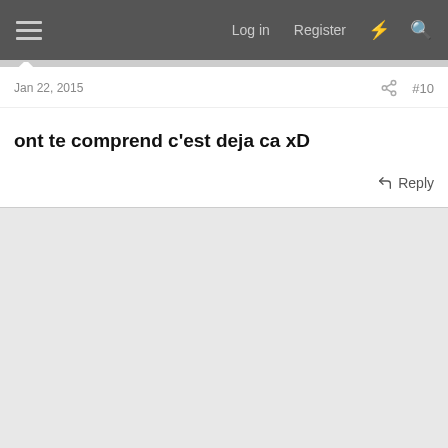Log in  Register
Jan 22, 2015  #10
ont te comprend c'est deja ca xD
↩ Reply